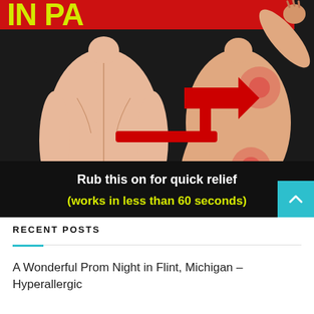[Figure (illustration): Medical infographic showing two illustrated human backs with red highlighted pain points (shoulder blade area and lower back). A large red arrow points to the highlighted areas. Black background with text: 'Rub this on for quick relief (works in less than 60 seconds)' in white and yellow-green. Partial red banner with yellow-green text 'IN PA...' at top.]
RECENT POSTS
A Wonderful Prom Night in Flint, Michigan – Hyperallergic